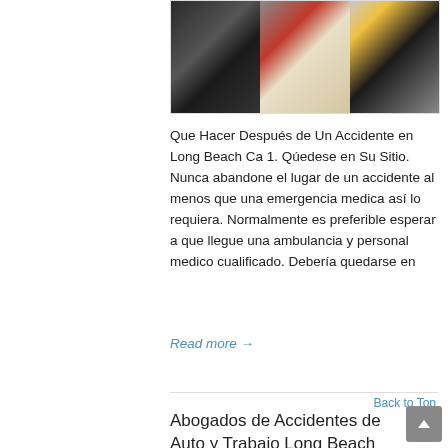[Figure (photo): Three-panel photo collage showing accident scenes: a damaged car, a bicycle on a red cycle lane, and a person fallen on the ground with a yellow helmet nearby.]
Que Hacer Después de Un Accidente en Long Beach Ca 1. Qúedese en Su Sitio. Nunca abandone el lugar de un accidente al menos que una emergencia medica así lo requiera. Normalmente es preferible esperar a que llegue una ambulancia y personal medico cualificado. Debería quedarse en
Read more →
Back to Top
Abogados de Accidentes de Auto y Trabajo Long Beach